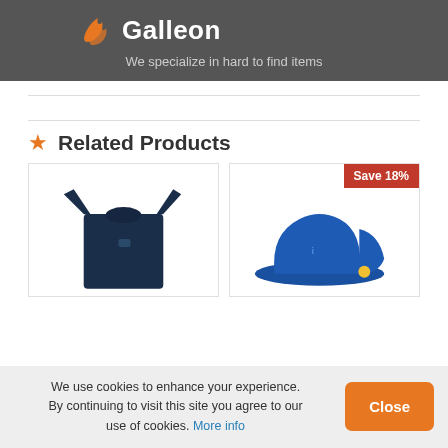Galleon — We specialize in hard to find items
★ Related Products
[Figure (photo): Product card showing a navy blue long-sleeve rash guard / swim shirt for children]
[Figure (photo): Product card showing a royal blue children's sun hat with flap, with a 'Save 18%' badge]
We use cookies to enhance your experience. By continuing to visit this site you agree to our use of cookies. More info